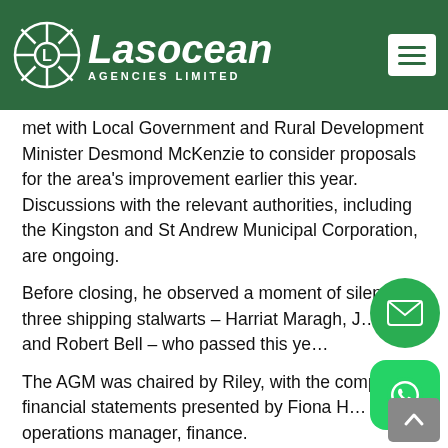Lasocean Agencies Limited
met with Local Government and Rural Development Minister Desmond McKenzie to consider proposals for the area's improvement earlier this year. Discussions with the relevant authorities, including the Kingston and St Andrew Municipal Corporation, are ongoing.
Before closing, he observed a moment of silence for three shipping stalwarts – Harriat Maragh, J… Lowe and Robert Bell – who passed this ye…
The AGM was chaired by Riley, with the company's financial statements presented by Fiona H… operations manager, finance.